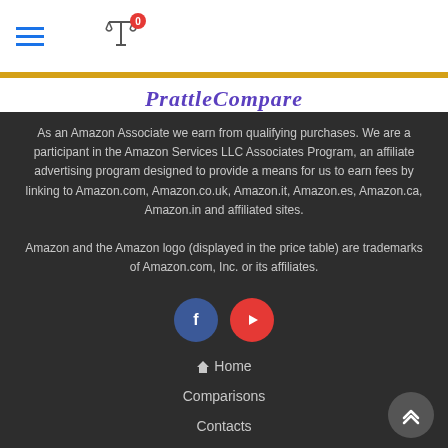Navigation bar with hamburger menu and scale icon with badge 0
[Figure (logo): PrattleCompare site title in blue/purple italic script font on gold/yellow background bar]
As an Amazon Associate we earn from qualifying purchases. We are a participant in the Amazon Services LLC Associates Program, an affiliate advertising program designed to provide a means for us to earn fees by linking to Amazon.com, Amazon.co.uk, Amazon.it, Amazon.es, Amazon.ca, Amazon.in and affiliated sites.
Amazon and the Amazon logo (displayed in the price table) are trademarks of Amazon.com, Inc. or its affiliates.
[Figure (infographic): Facebook icon (blue circle with white F) and YouTube icon (red circle with white play button)]
Home
Comparisons
Contacts
Privacy